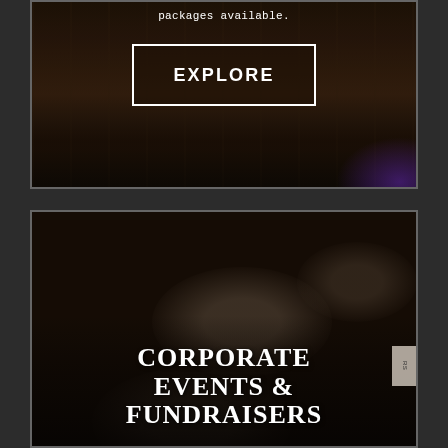packages available.
[Figure (photo): Dark interior venue photo showing a wooden bar/floor area with purple lighting accent, overlaid with an EXPLORE button with white border]
[Figure (photo): Dark restaurant/event venue interior with round tables set with gray tablecloths, place settings, and centerpieces, overlaid with large white bold text reading CORPORATE EVENTS & FUNDRAISERS]